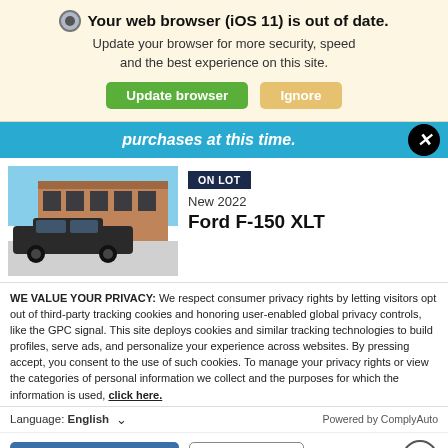Your web browser (iOS 11) is out of date. Update your browser for more security, speed and the best experience on this site.
Update browser | Ignore
purchases at this time.
[Figure (screenshot): Ford dealership building with a dark Ford F-150 truck parked in front]
ON LOT
New 2022
Ford F-150 XLT
WE VALUE YOUR PRIVACY: We respect consumer privacy rights by letting visitors opt out of third-party tracking cookies and honoring user-enabled global privacy controls, like the GPC signal. This site deploys cookies and similar tracking technologies to build profiles, serve ads, and personalize your experience across websites. By pressing accept, you consent to the use of such cookies. To manage your privacy rights or view the categories of personal information we collect and the purposes for which the information is used, click here.
Language: English ∨  Powered by ComplyAuto
Accept and Continue →  Privacy Policy